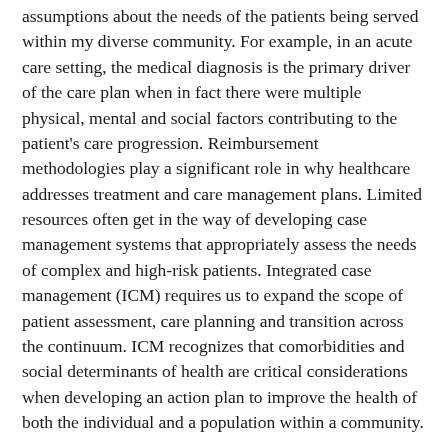assumptions about the needs of the patients being served within my diverse community. For example, in an acute care setting, the medical diagnosis is the primary driver of the care plan when in fact there were multiple physical, mental and social factors contributing to the patient's care progression. Reimbursement methodologies play a significant role in why healthcare addresses treatment and care management plans. Limited resources often get in the way of developing case management systems that appropriately assess the needs of complex and high-risk patients. Integrated case management (ICM) requires us to expand the scope of patient assessment, care planning and transition across the continuum. ICM recognizes that comorbidities and social determinants of health are critical considerations when developing an action plan to improve the health of both the individual and a population within a community.
Integrated case management requires case managers to